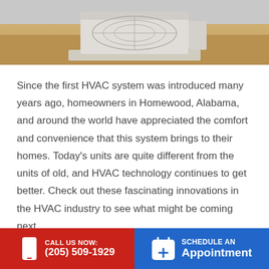[Figure (photo): Outdoor HVAC air conditioning unit on a concrete pad surrounded by dry grass and gravel, viewed from above/side angle]
Since the first HVAC system was introduced many years ago, homeowners in Homewood, Alabama, and around the world have appreciated the comfort and convenience that this system brings to their homes. Today's units are quite different from the units of old, and HVAC technology continues to get better. Check out these fascinating innovations in the HVAC industry to see what might be coming next.
Thermal Air Conditioning
Ma...
CALL US NOW: (205) 509-1929
SCHEDULE AN Appointment